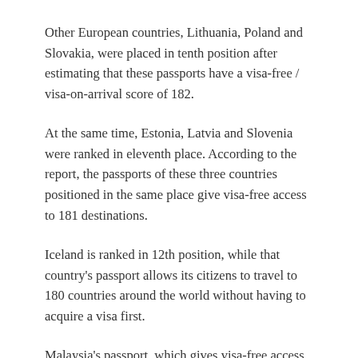Other European countries, Lithuania, Poland and Slovakia, were placed in tenth position after estimating that these passports have a visa-free / visa-on-arrival score of 182.
At the same time, Estonia, Latvia and Slovenia were ranked in eleventh place. According to the report, the passports of these three countries positioned in the same place give visa-free access to 181 destinations.
Iceland is ranked in 12th position, while that country's passport allows its citizens to travel to 180 countries around the world without having to acquire a visa first.
Malaysia's passport, which gives visa-free access to 179 territories, was ranked thirteenth. Due to its visa-free-on-arrival score of 176, the Cypriot passport was placed in the fifteenth place.